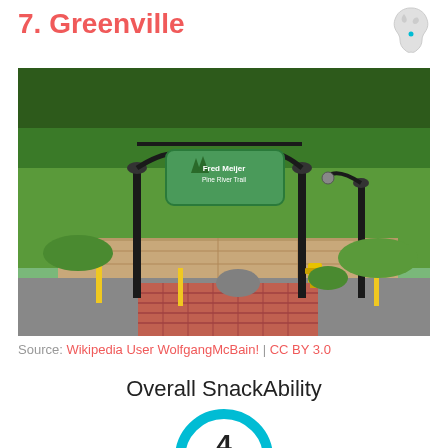7. Greenville
[Figure (photo): Entrance to Fred Meijer Pine River Trail in Greenville, Michigan — ornamental lamp post archway with green trail sign, red brick crosswalk, retaining wall, and lush trees]
Source: Wikipedia User WolfgangMcBain! | CC BY 3.0
Overall SnackAbility
[Figure (infographic): Circular score badge showing 4 out of 10 in cyan/teal ring]